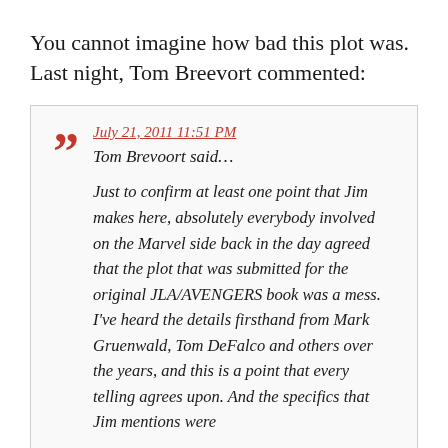You cannot imagine how bad this plot was. Last night, Tom Breevort commented:
July 21, 2011 11:51 PM
Tom Brevoort said…

Just to confirm at least one point that Jim makes here, absolutely everybody involved on the Marvel side back in the day agreed that the plot that was submitted for the original JLA/AVENGERS book was a mess. I've heard the details firsthand from Mark Gruenwald, Tom DeFalco and others over the years, and this is a point that every telling agrees upon. And the specifics that Jim mentions were